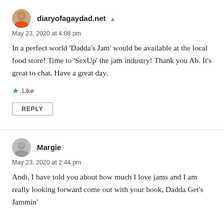diaryofagaydad.net
May 23, 2020 at 4:08 pm
In a perfect world ‘Dadda’s Jam’ would be available at the local food store! Time to ‘SexUp’ the jam industry! Thank you Ab. It’s great to chat. Have a great day.
Like
REPLY
Margie
May 23, 2020 at 2:44 pm
Andi, I have told you about how much I love jams and I am really looking forward come out with your book, Dadda Get’s Jammin’